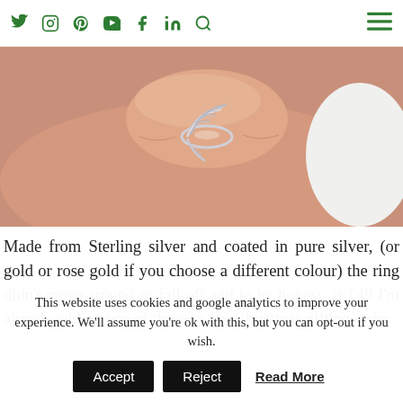Social media icons: Twitter, Instagram, Pinterest, YouTube, Facebook, LinkedIn, Search; Hamburger menu
[Figure (photo): Close-up photo of a hand wearing a silver feather wrap ring against a white fur background]
Made from Sterling silver and coated in pure silver, (or gold or rose gold if you choose a different colour) the ring didn't move around or fall off and to be honest, at £49 I'm already adding one of those to my Christmas gifting order
This website uses cookies and google analytics to improve your experience. We'll assume you're ok with this, but you can opt-out if you wish. Accept Reject Read More